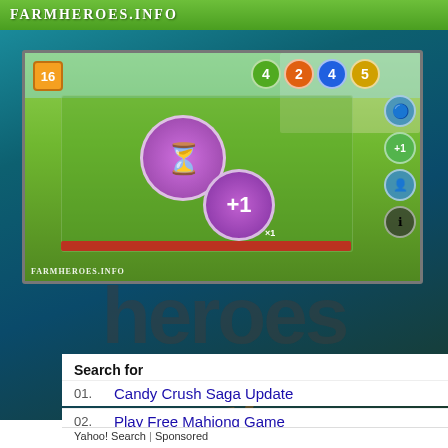[Figure (screenshot): Top banner with FarmHeroes.info logo on green background]
[Figure (screenshot): Farm Heroes Saga game screenshot showing match-3 puzzle grid with boosters displaying +1, score circles showing 4, 2, 4, 5, moves counter showing 16, FarmHeroes.info watermark]
[Figure (screenshot): Farm Heroes Saga background with large semi-transparent 'heroes saga' text overlay on dark teal background]
Search for
01. Candy Crush Saga Update
02. Play Free Mahjong Game
Yahoo! Search | Sponsored